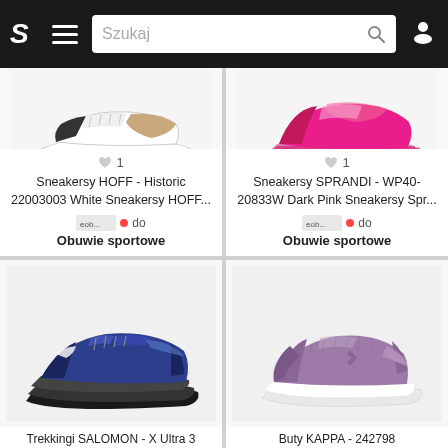S   ≡   Szukaj 🔍   👤
[Figure (photo): White and tan Sneakersy HOFF running shoe on white background]
♡ 1
Sneakersy HOFF - Historic 22003003 White Sneakersy HOFF...
eobuwie.pl 🔴 do
Obuwie sportowe
[Figure (photo): Pink/magenta Sneakersy SPRANDI chunky sneaker on white background]
♡ 1
Sneakersy SPRANDI - WP40-20833W Dark Pink Sneakersy Spr...
eobuwie.pl 🔴 do
Obuwie sportowe
[Figure (photo): Blue/navy Salomon X Ultra 3 trekking shoe on white background]
Trekkingi SALOMON - X Ultra 3
[Figure (photo): Purple/mauve Kappa 242798 knit sneaker on white background]
Buty KAPPA - 242798